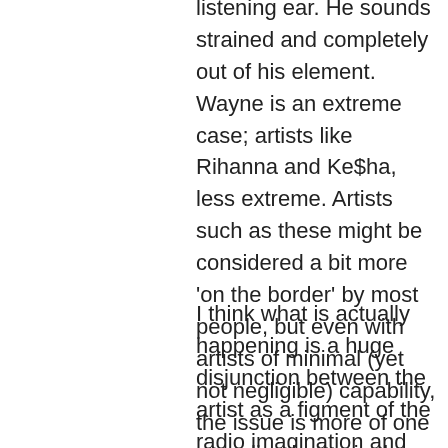listening ear. He sounds strained and completely out of his element. Wayne is an extreme case; artists like Rihanna and Ke$ha, less extreme. Artists such as these might be considered a bit more 'on the border' by most people, but even with artists of minimal (yet not negligible) capability, the issue is more of one sounding better in the studio than one does live. Or at least, to remain more value-neutral, one being incapable of reproducing the studio performance.
I think what is actually happening is a huge disjunction between the artist as a figment of the radio imagination and the artist as a performer, an image. The core of character creation now takes place in visuals, and consequently, the